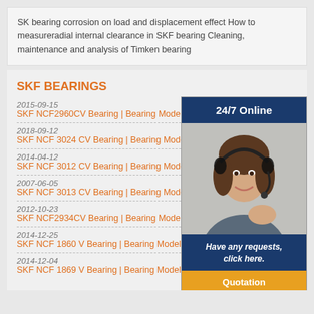SK bearing corrosion on load and displacement effect How to measureradial internal clearance in SKF bearing Cleaning, maintenance and analysis of Timken bearing
SKF BEARINGS
2015-09-15
SKF NCF2960CV Bearing | Bearing Model: NCF2960CV
2018-09-12
SKF NCF 3024 CV Bearing | Bearing Model: N
2014-04-12
SKF NCF 3012 CV Bearing | Bearing Model: N
2007-06-05
SKF NCF 3013 CV Bearing | Bearing Model: N
2012-10-23
SKF NCF2934CV Bearing | Bearing Model: NC
2014-12-25
SKF NCF 1860 V Bearing | Bearing Model: NC
2014-12-04
SKF NCF 1869 V Bearing | Bearing Model: NCF 1869 V
[Figure (photo): Customer service widget with 24/7 Online heading, photo of woman with headset, 'Have any requests, click here.' text, and Quotation button]